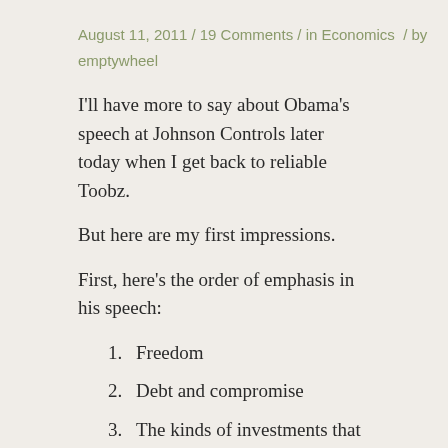August 11, 2011 / 19 Comments / in Economics / by emptywheel
I'll have more to say about Obama's speech at Johnson Controls later today when I get back to reliable Toobz.
But here are my first impressions.
First, here's the order of emphasis in his speech:
1. Freedom
2. Debt and compromise
3. The kinds of investments that make this factory possible
That's a problem. Republicans like Crazy Pete